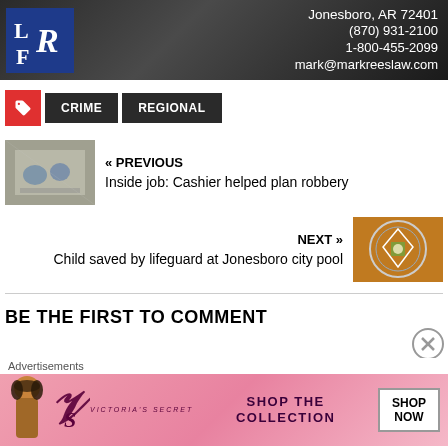[Figure (photo): Law firm advertisement banner showing a man in a suit with a tie, Rees Law Firm logo, and contact information: Jonesboro, AR 72401, (870) 931-2100, 1-800-455-2099, mark@markreeslaw.com]
CRIME
REGIONAL
« PREVIOUS
Inside job: Cashier helped plan robbery
[Figure (photo): Store interior showing people at checkout, overhead camera angle]
NEXT »
Child saved by lifeguard at Jonesboro city pool
[Figure (photo): Challenge coin or medallion with diamond shape in center on brown/orange background]
BE THE FIRST TO COMMENT
[Figure (photo): Victoria's Secret advertisement: woman with curly hair, VS logo, SHOP THE COLLECTION, SHOP NOW button]